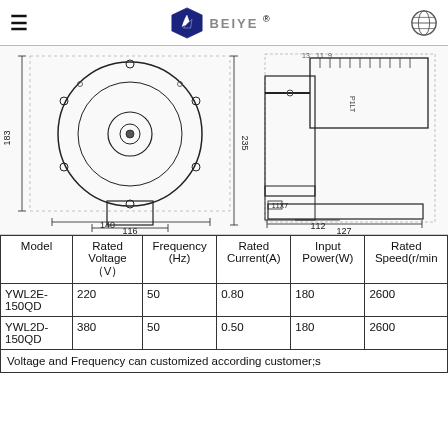BEIYE (logo with hamburger menu and globe icon)
[Figure (engineering-diagram): Technical engineering drawing of a centrifugal blower fan showing front view (circular fan with mounting holes) with dimensions 183, 235, 116, 140, and side view with dimensions 11X7, 112, 127 and other labeled measurements.]
| Model | Rated Voltage （V） | Frequency (Hz) | Rated Current(A) | Input Power(W) | Rated Speed(r/min |
| --- | --- | --- | --- | --- | --- |
| YWL2E-150QD | 220 | 50 | 0.80 | 180 | 2600 |
| YWL2D-150QD | 380 | 50 | 0.50 | 180 | 2600 |
| Voltage and Frequency can customized according customer;s |  |  |  |  |  |